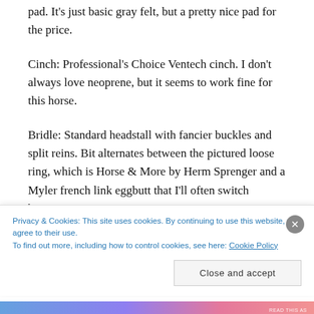pad. It's just basic gray felt, but a pretty nice pad for the price.
Cinch: Professional's Choice Ventech cinch. I don't always love neoprene, but it seems to work fine for this horse.
Bridle: Standard headstall with fancier buckles and split reins. Bit alternates between the pictured loose ring, which is Horse & More by Herm Sprenger and a Myler french link eggbutt that I'll often switch between
Privacy & Cookies: This site uses cookies. By continuing to use this website, you agree to their use.
To find out more, including how to control cookies, see here: Cookie Policy
Close and accept